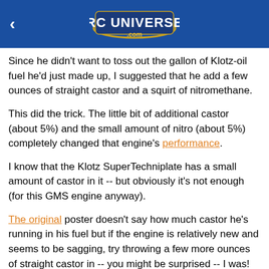RC Universe .com
Since he didn't want to toss out the gallon of Klotz-oil fuel he'd just made up, I suggested that he add a few ounces of straight castor and a squirt of nitromethane.
This did the trick. The little bit of additional castor (about 5%) and the small amount of nitro (about 5%) completely changed that engine's performance.
I know that the Klotz SuperTechniplate has a small amount of castor in it -- but obviously it's not enough (for this GMS engine anyway).
The original poster doesn't say how much castor he's running in his fuel but if the engine is relatively new and seems to be sagging, try throwing a few more ounces of straight castor in -- you might be surprised -- I was!
I don't bother buying CoolPower Pink or Klotz